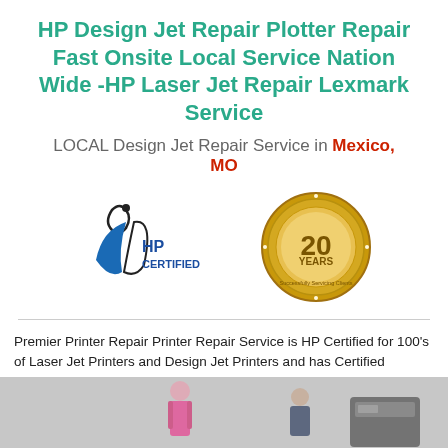HP Design Jet Repair Plotter Repair Fast Onsite Local Service Nation Wide -HP Laser Jet Repair Lexmark Service
LOCAL Design Jet Repair Service in Mexico, MO
[Figure (logo): HP Certified logo and 20 Years Successfully Servicing Clients badge]
Premier Printer Repair Printer Repair Service is HP Certified for 100's of Laser Jet Printers and Design Jet Printers and has Certified
[Figure (photo): Photo of office workers near a printer/plotter]